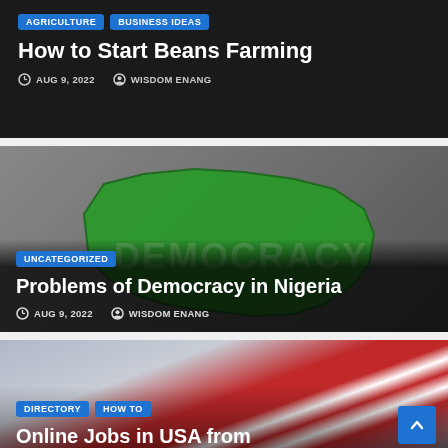[Figure (screenshot): Article card 1 with dark background, tags AGRICULTURE and BUSINESS IDEAS, title 'How to Start Beans Farming', date AUG 9 2022, author WISDOM ENANG]
[Figure (screenshot): Article card 2 with green Nigeria map image background, tag UNCATEGORIZED, title 'Problems of Democracy in Nigeria', date AUG 9 2022, author WISDOM ENANG]
[Figure (screenshot): Article card 3 partially visible with USA flag background, tags DIRECTORY and HOW TO, partial title 'Online Jobs in USA from']